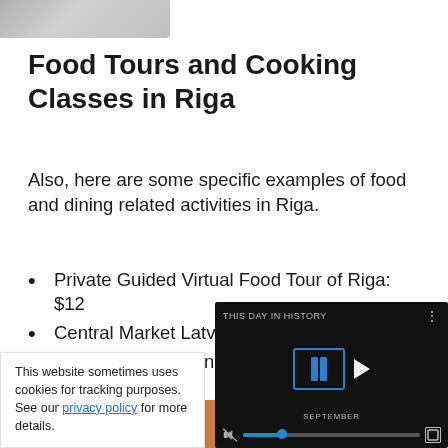[Figure (photo): Partial cropped image at top left, showing grey/blurred content]
Food Tours and Cooking Classes in Riga
Also, here are some specific examples of food and dining related activities in Riga.
Private Guided Virtual Food Tour of Riga: $12
Central Market Latvian Food Tour: $34
Riga Medieval Dinner: $102
Riga Medieval ...
[Figure (screenshot): Video player overlay showing 'THIS DAY IN HISTORY' with play button and progress bar controls]
This website sometimes uses cookies for tracking purposes. See our privacy policy for more details.